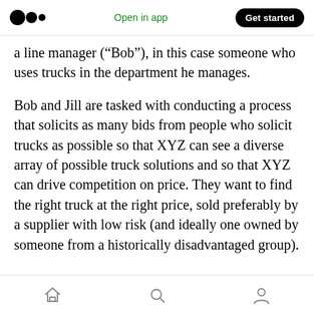Medium app header with logo, Open in app, Get started
a line manager (“Bob”), in this case someone who uses trucks in the department he manages.
Bob and Jill are tasked with conducting a process that solicits as many bids from people who solicit trucks as possible so that XYZ can see a diverse array of possible truck solutions and so that XYZ can drive competition on price. They want to find the right truck at the right price, sold preferably by a supplier with low risk (and ideally one owned by someone from a historically disadvantaged group).
Bottom navigation: home, search, profile